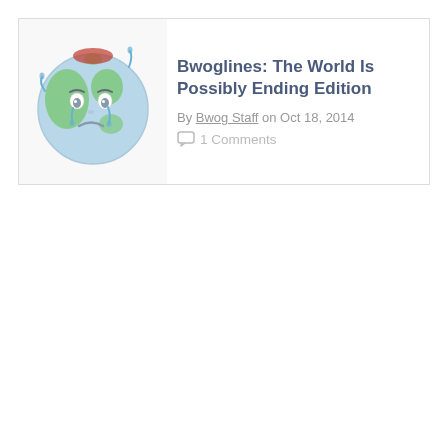[Figure (illustration): A sad/crying cartoon Earth globe with droopy eyes and tears, green continents on light blue background]
Bwoglines: The World Is Possibly Ending Edition
By Bwog Staff on Oct 18, 2014
1 Comments